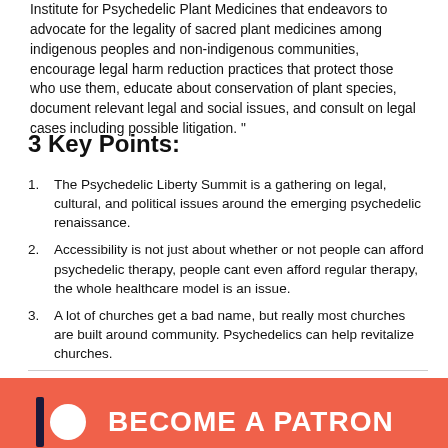Institute for Psychedelic Plant Medicines that endeavors to advocate for the legality of sacred plant medicines among indigenous peoples and non-indigenous communities, encourage legal harm reduction practices that protect those who use them, educate about conservation of plant species, document relevant legal and social issues, and consult on legal cases including possible litigation. "
3 Key Points:
The Psychedelic Liberty Summit is a gathering on legal, cultural, and political issues around the emerging psychedelic renaissance.
Accessibility is not just about whether or not people can afford psychedelic therapy, people cant even afford regular therapy, the whole healthcare model is an issue.
A lot of churches get a bad name, but really most churches are built around community. Psychedelics can help revitalize churches.
[Figure (logo): Patreon banner with bar and circle logo icon and text BECOME A PATRON on orange/coral background]
Support the show